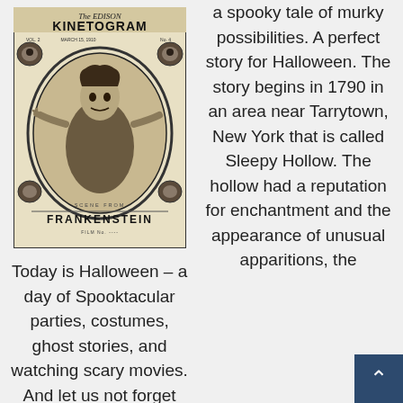[Figure (illustration): Cover of The Edison Kinetogram magazine, Vol. 2, March 15, 1910, No. 4, featuring the Frankenstein film with a monster figure in a circular frame, decorated border, and text FRANKENSTEIN below.]
Today is Halloween – a day of Spooktacular parties, costumes, ghost stories, and watching scary movies. And let us not forget the
a spooky tale of murky possibilities. A perfect story for Halloween. The story begins in 1790 in an area near Tarrytown, New York that is called Sleepy Hollow. The hollow had a reputation for enchantment and the appearance of unusual apparitions, the